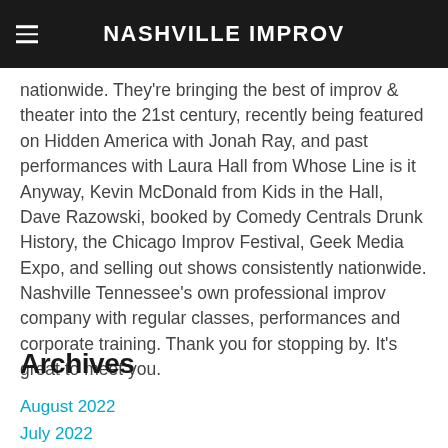NASHVILLE IMPROV
Nashville Improv ... their unique brand of high energy improvised comedy nationwide. They're bringing the best of improv & theater into the 21st century, recently being featured on Hidden America with Jonah Ray, and past performances with Laura Hall from Whose Line is it Anyway, Kevin McDonald from Kids in the Hall, Dave Razowski, booked by Comedy Centrals Drunk History, the Chicago Improv Festival, Geek Media Expo, and selling out shows consistently nationwide. Nashville Tennessee's own professional improv company with regular classes, performances and corporate training. Thank you for stopping by. It's great to meet you.
Archives
August 2022
July 2022